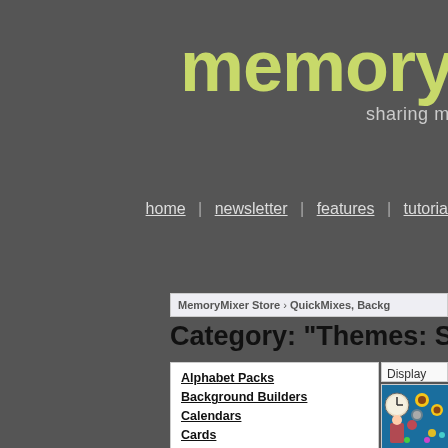memorym  sharing memories
home | newsletter | features | tutoria
MemoryMixer Store › QuickMixes, Backg
Category: "Themes: Sch
Alphabet Packs
Background Builders
Calendars
Cards
Collages
Colors
• Black
• Blue
Display
[Figure (illustration): Colorful illustrated image with clocks and flowers, partial view]